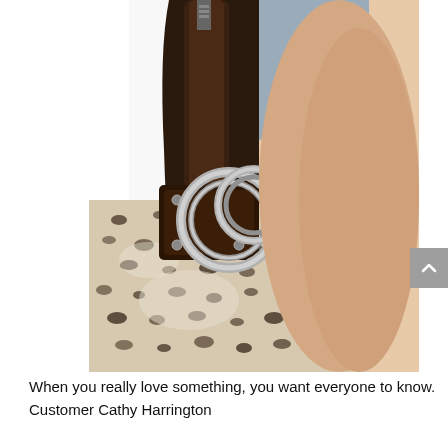[Figure (photo): Close-up photo of a woman carrying a snakeskin-print handbag with silver ring hardware and a dark brown leather strap, wearing a gray sleeveless top. The bag has a reptile-texture pattern in cream and black.]
When you really love something, you want everyone to know. Customer Cathy Harrington